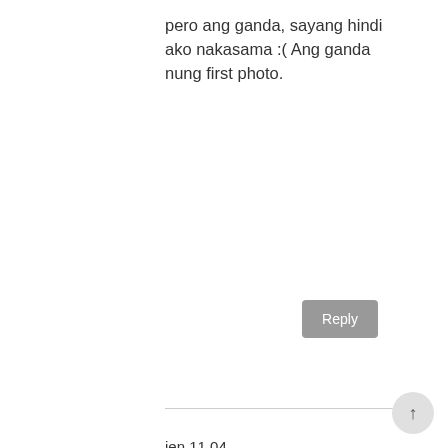pero ang ganda, sayang hindi ako nakasama :( Ang ganda nung first photo.
Reply
jen 11 04
January 22, 2015 at 12:35 PM
Proud to be a Quirinian's..Thank you for discovering our province... Continue your project